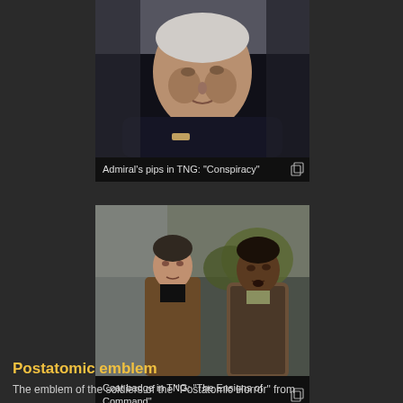[Figure (photo): Close-up of an older white-haired man in a Star Trek admiral uniform, looking upward, from the TNG episode 'Conspiracy']
Admiral's pips in TNG: "Conspiracy"
[Figure (photo): Two men standing together in civilian clothes from the TNG episode 'The Ensigns of Command']
Coat badge in TNG: "The Ensigns of Command"
Postatomic emblem
The emblem of the soldiers of the "Postatomic Horror" from